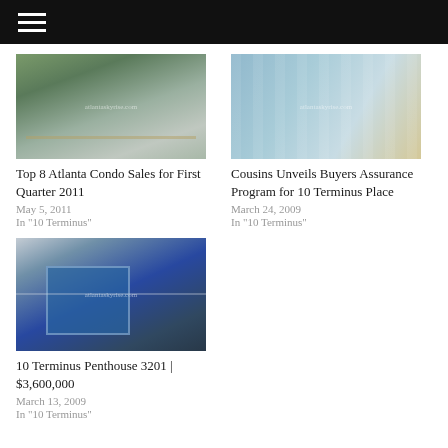[Figure (photo): Aerial view of Atlanta condo buildings and cityscape]
Top 8 Atlanta Condo Sales for First Quarter 2011
May 5, 2011
In "10 Terminus"
[Figure (photo): Close-up of glass curtain wall facade of 10 Terminus Place building]
Cousins Unveils Buyers Assurance Program for 10 Terminus Place
March 24, 2009
In "10 Terminus"
[Figure (photo): Ground-level view of 10 Terminus Plaza entrance with modern architecture]
10 Terminus Penthouse 3201 | $3,600,000
March 13, 2009
In "10 Terminus"